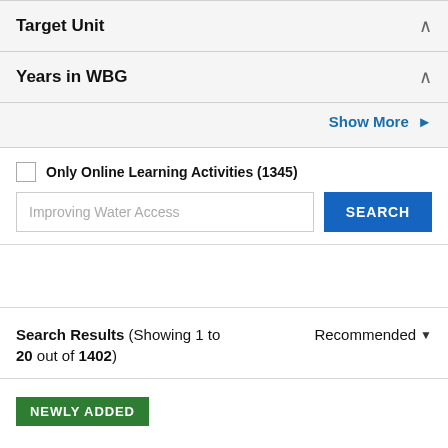Target Unit
Years in WBG
Show More ›
Only Online Learning Activities (1345)
Improving Water Access
SEARCH
Search Results (Showing 1 to 20 out of 1402)
Recommended
NEWLY ADDED